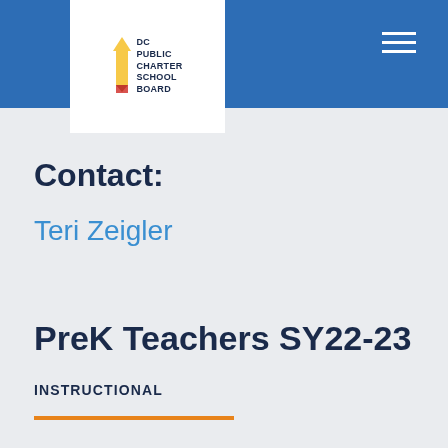[Figure (logo): DC Public Charter School Board logo with pencil icon and text]
Contact:
Teri Zeigler
PreK Teachers SY22-23
INSTRUCTIONAL